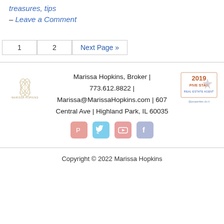treasures, tips
– Leave a Comment
1  2  Next Page »
Marissa Hopkins, Broker | 773.612.8822 | Marissa@MarissaHopkins.com | 607 Central Ave | Highland Park, IL 60035
[Figure (logo): Marissa Hopkins real estate logo (left) and 2019 Five Star award badge (right)]
[Figure (infographic): Social media icons: Pinterest, Twitter, YouTube, Facebook]
Copyright © 2022 Marissa Hopkins